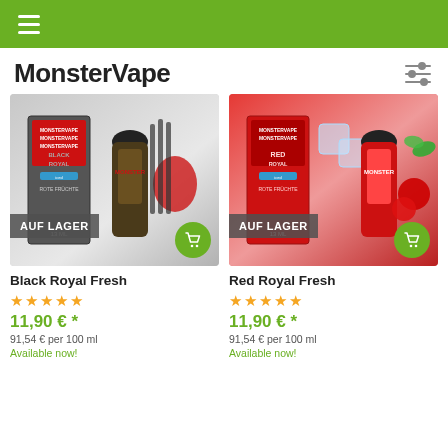MonsterVape
MonsterVape
[Figure (photo): Product photo of Black Royal Fresh e-liquid bottle and box by MonsterVape, with red fruits and licorice sticks. Shows 'AUF LAGER' badge and cart button.]
Black Royal Fresh
★★★★★
11,90 € *
91,54 € per 100 ml
Available now!
[Figure (photo): Product photo of Red Royal Fresh e-liquid bottle and box by MonsterVape, with raspberries, red berries, mint and ice cubes. Shows 'AUF LAGER' badge and cart button.]
Red Royal Fresh
★★★★★
11,90 € *
91,54 € per 100 ml
Available now!